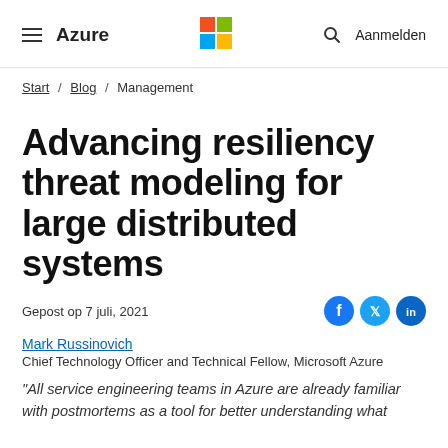≡ Azure | Microsoft logo | 🔍 Aanmelden
Start / Blog / Management
Advancing resiliency threat modeling for large distributed systems
Gepost op 7 juli, 2021
Mark Russinovich
Chief Technology Officer and Technical Fellow, Microsoft Azure
"All service engineering teams in Azure are already familiar with postmortems as a tool for better understanding what